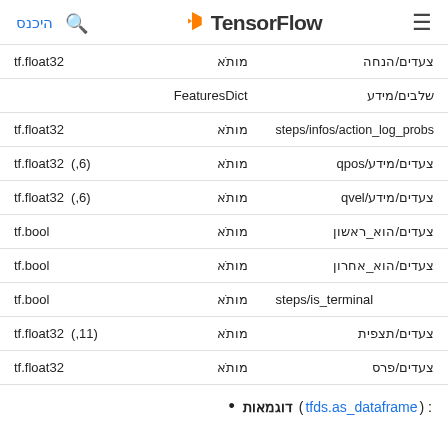היכנס | Search | TensorFlow | Menu
| type | label | key |
| --- | --- | --- |
| tf.float32 | מותאׁ | צעדים/הנחה |
|  | FeaturesDict | שלבים/מידע |
| tf.float32 | מותאׁ | steps/infos/action_log_probs |
| tf.float32  (,6) | מותאׁ | צעדים/מידע/qpos |
| tf.float32  (,6) | מותאׁ | צעדים/מידע/qvel |
| tf.bool | מותאׁ | צעדים/הוא_ראשון |
| tf.bool | מותאׁ | צעדים/הוא_אחרון |
| tf.bool | מותאׁ | steps/is_terminal |
| tf.float32  (,11) | מותאׁ | צעדים/תצפית |
| tf.float32 | מותאׁ | צעדים/פרס |
דוגמאות: ( tfds.as_dataframe )